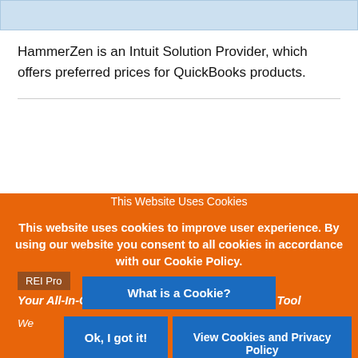[Figure (screenshot): Blue bar at top of web page]
HammerZen is an Intuit Solution Provider, which offers preferred prices for QuickBooks products.
[Figure (screenshot): Cookie consent overlay on orange background with REIPro logo. Contains title 'This Website Uses Cookies', body text about cookie policy, 'What is a Cookie?' button, 'Ok, I got it!' button, and 'View Cookies and Privacy Policy' button. Also shows 'REI Pro' badge and tagline 'Your All-In-One Real Estate Investing Software Tool'.]